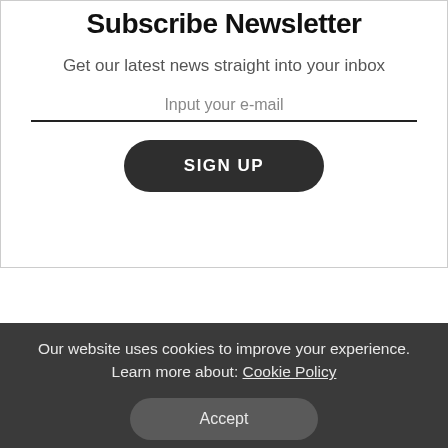Subscribe Newsletter
Get our latest news straight into your inbox
Input your e-mail
SIGN UP
Our website uses cookies to improve your experience. Learn more about: Cookie Policy
Accept